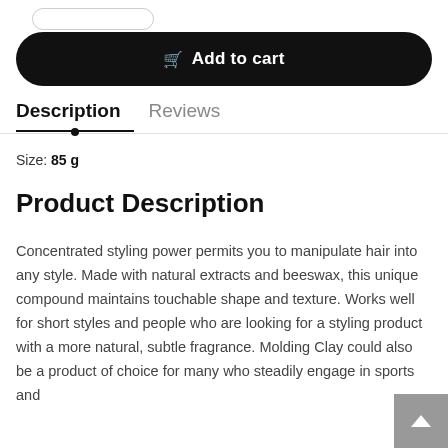[Figure (other): Quantity selector rounded box UI element]
Add to cart
Description
Reviews
Size: 85 g
Product Description
Concentrated styling power permits you to manipulate hair into any style. Made with natural extracts and beeswax, this unique compound maintains touchable shape and texture. Works well for short styles and people who are looking for a styling product with a more natural, subtle fragrance. Molding Clay could also be a product of choice for many who steadily engage in sports and